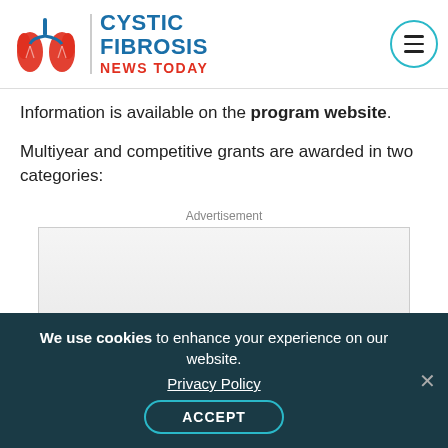[Figure (logo): Cystic Fibrosis News Today logo with lung illustration and site name]
Information is available on the program website.
Multiyear and competitive grants are awarded in two categories:
Advertisement
[Figure (other): Advertisement box with light gray gradient background containing fine print text about BRONCHITOL (mannitol) inhalation powder]
We use cookies to enhance your experience on our website.
Privacy Policy
ACCEPT